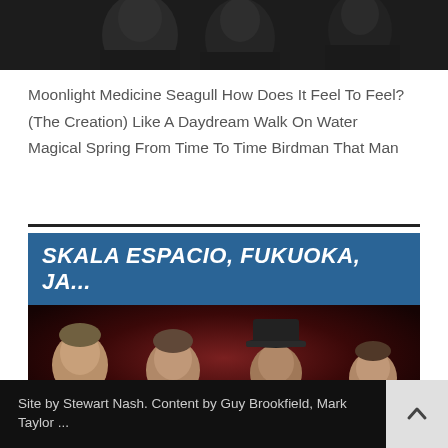[Figure (photo): Cropped photo of band members against dark background, showing partial faces/heads at the top of the page]
Moonlight Medicine Seagull How Does It Feel To Feel? (The Creation) Like A Daydream Walk On Water Magical Spring From Time To Time Birdman That Man
[Figure (photo): Event listing card with blue header reading 'SKALA ESPACIO, FUKUOKA, JA...' in bold white italic uppercase text, below which is a band photo of four men against a dark red/maroon background]
Site by Stewart Nash. Content by Guy Brookfield, Mark Taylor ...